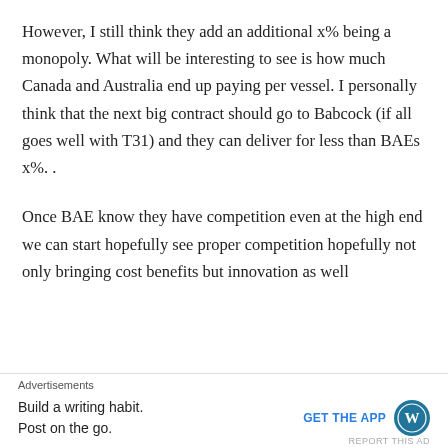However, I still think they add an additional x% being a monopoly. What will be interesting to see is how much Canada and Australia end up paying per vessel. I personally think that the next big contract should go to Babcock (if all goes well with T31) and they can deliver for less than BAEs x%. .
Once BAE know they have competition even at the high end we can start hopefully see proper competition hopefully not only bringing cost benefits but innovation as well
Advertisements
Build a writing habit. Post on the go.